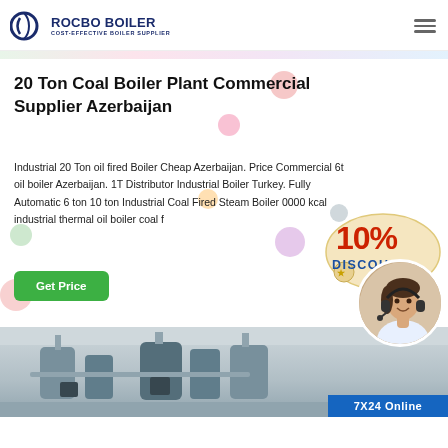ROCBO BOILER — COST-EFFECTIVE BOILER SUPPLIER
20 Ton Coal Boiler Plant Commercial Supplier Azerbaijan
Industrial 20 Ton oil fired Boiler Cheap Azerbaijan. Price Commercial 6t oil boiler Azerbaijan. 1T Distributor Industrial Boiler Turkey. Fully Automatic 6 ton 10 ton Industrial Coal Fired Steam Boiler 0000 kcal industrial thermal oil boiler coal f
Get Price
[Figure (photo): 10% DISCOUNT promotional badge with star icon]
[Figure (photo): Industrial boiler plant room with equipment and piping]
[Figure (photo): Customer service representative with headset smiling, with 7X24 Online text at bottom]